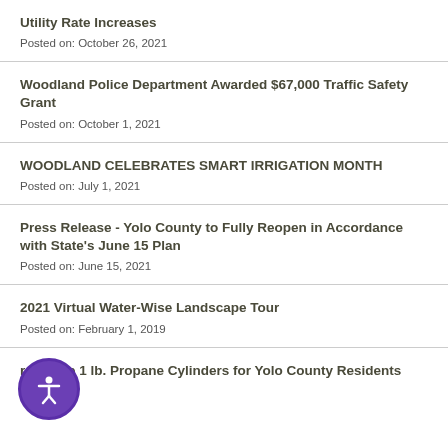Utility Rate Increases
Posted on: October 26, 2021
Woodland Police Department Awarded $67,000 Traffic Safety Grant
Posted on: October 1, 2021
WOODLAND CELEBRATES SMART IRRIGATION MONTH
Posted on: July 1, 2021
Press Release - Yolo County to Fully Reopen in Accordance with State's June 15 Plan
Posted on: June 15, 2021
2021 Virtual Water-Wise Landscape Tour
Posted on: February 1, 2019
reusable 1 lb. Propane Cylinders for Yolo County Residents